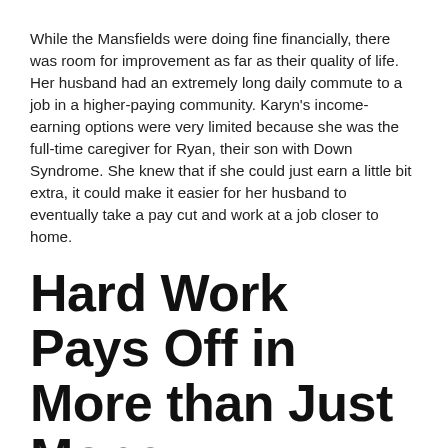While the Mansfields were doing fine financially, there was room for improvement as far as their quality of life. Her husband had an extremely long daily commute to a job in a higher-paying community. Karyn's income-earning options were very limited because she was the full-time caregiver for Ryan, their son with Down Syndrome. She knew that if she could just earn a little bit extra, it could make it easier for her husband to eventually take a pay cut and work at a job closer to home.
Hard Work Pays Off in More than Just Money
So, she took the leap in early August of 2018. Within days of hitting the ground running with LIMU, she had added 3 other people to her team, which earned her the 2K VIP ranking, her initial purchase money back, and a bonus.